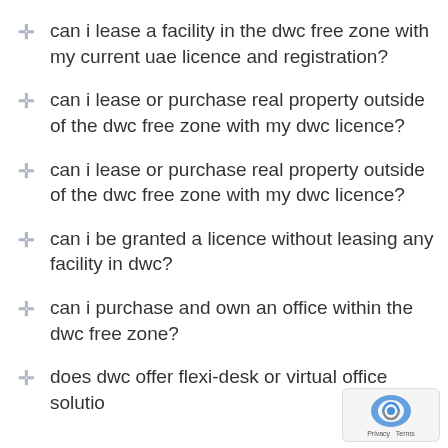can i lease a facility in the dwc free zone with my current uae licence and registration?
can i lease or purchase real property outside of the dwc free zone with my dwc licence?
can i lease or purchase real property outside of the dwc free zone with my dwc licence?
can i be granted a licence without leasing any facility in dwc?
can i purchase and own an office within the dwc free zone?
does dwc offer flexi-desk or virtual office solutions